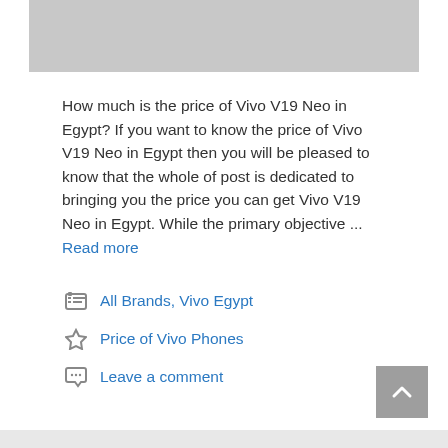[Figure (other): Gray banner/placeholder image at top of page]
How much is the price of Vivo V19 Neo in Egypt? If you want to know the price of Vivo V19 Neo in Egypt then you will be pleased to know that the whole of post is dedicated to bringing you the price you can get Vivo V19 Neo in Egypt. While the primary objective … Read more
All Brands, Vivo Egypt
Price of Vivo Phones
Leave a comment